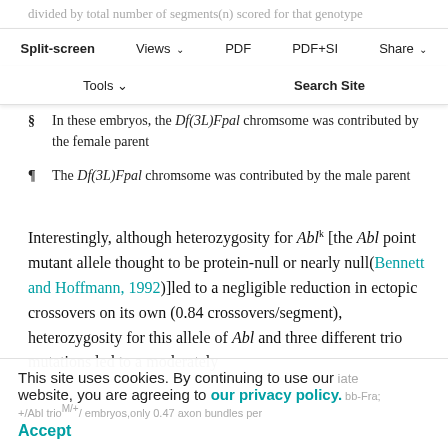divided by total number of segments(n) scored for that genotype
Split-screen  Views  PDF  PDF+SI  Share
ance is the number of embryos with divided total number (n) of embryos scored
Tools  Search Site
Expressivity is the number of crossovers divided by the number of affected embryos
§  In these embryos, the Df(3L)Fpal chromsome was contributed by the female parent
¶  The Df(3L)Fpal chromsome was contributed by the male parent
Interestingly, although heterozygosity for Abl^k [the Abl point mutant allele thought to be protein-null or nearly null(Bennett and Hoffmann, 1992)]led to a negligible reduction in ectopic crossovers on its own (0.84 crossovers/segment), heterozygosity for this allele of Abl and three different trio mutations led to a moderately
This site uses cookies. By continuing to use our website, you are agreeing to our privacy policy.
Accept
+/Abl trio^[M/+] embryos,only 0.47 axon bundles per